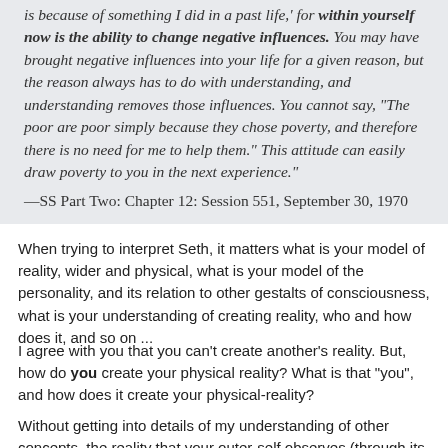is because of something I did in a past life,' for within yourself now is the ability to change negative influences. You may have brought negative influences into your life for a given reason, but the reason always has to do with understanding, and understanding removes those influences. You cannot say, "The poor are poor simply because they chose poverty, and therefore there is no need for me to help them." This attitude can easily draw poverty to you in the next experience." —SS Part Two: Chapter 12: Session 551, September 30, 1970
When trying to interpret Seth, it matters what is your model of reality, wider and physical, what is your model of the personality, and its relation to other gestalts of consciousness, what is your understanding of creating reality, who and how does it, and so on ...
I agree with you that you can't create another's reality. But, how do you create your physical reality? What is that "you", and how does it create your physical-reality?
Without getting into details of my understanding of other concepts, the reality that your outer-self observes (through its physical-senses) is created by your subconscious. Your outer-